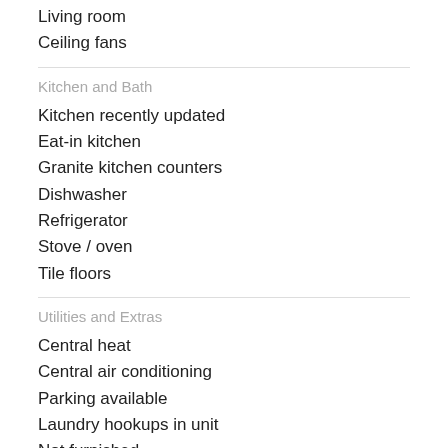Living room
Ceiling fans
Kitchen and Bath
Kitchen recently updated
Eat-in kitchen
Granite kitchen counters
Dishwasher
Refrigerator
Stove / oven
Tile floors
Utilities and Extras
Central heat
Central air conditioning
Parking available
Laundry hookups in unit
Not furnished